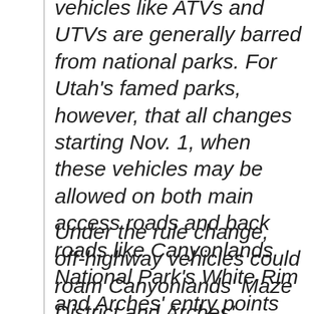vehicles like ATVs and UTVs are generally barred from national parks. For Utah's famed parks, however, that all changes starting Nov. 1, when these vehicles may be allowed on both main access roads and back roads like Canyonlands National Park's White Rim and Arches' entry points from Salt Valley and Willow Springs....
Under the rule change, off-highway vehicles could roam Canyonlands' Maze District and Arches' Klondike Bluffs area and